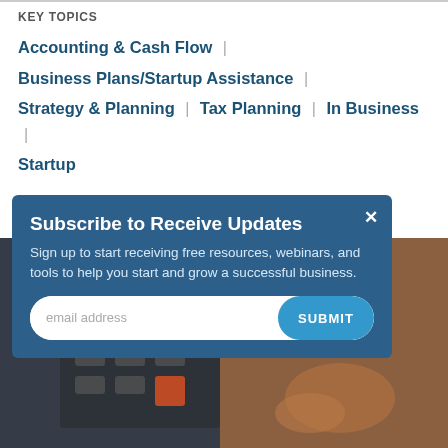KEY TOPICS
Accounting & Cash Flow
Business Plans/Startup Assistance
Strategy & Planning
Tax Planning
In Business
Startup
[Figure (photo): Hands using a calculator on a desk, blurred background]
Subscribe to Receive Updates
Sign up to start receiving free resources, webinars, and tools to help you start and grow a successful business.